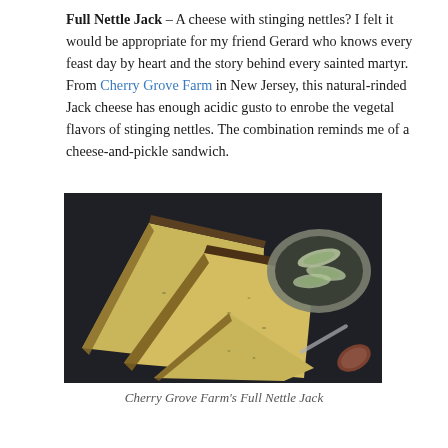Full Nettle Jack – A cheese with stinging nettles? I felt it would be appropriate for my friend Gerard who knows every feast day by heart and the story behind every sainted martyr. From Cherry Grove Farm in New Jersey, this natural-rinded Jack cheese has enough acidic gusto to enrobe the vegetal flavors of stinging nettles. The combination reminds me of a cheese-and-pickle sandwich.
[Figure (photo): Photograph of wedges of Full Nettle Jack cheese with a dark natural rind and greenish herb specks in the pale yellow interior, arranged on a dark cloth surface with a ceramic bowl of sliced cucumber and a knife with a wooden handle visible.]
Cherry Grove Farm's Full Nettle Jack